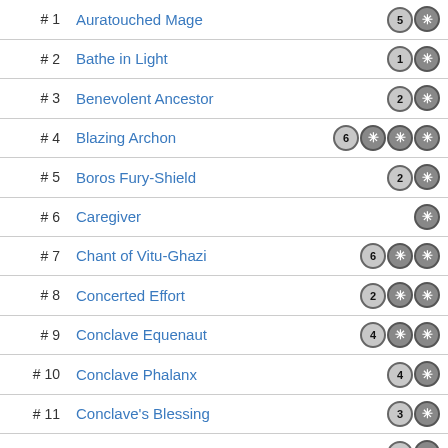| # | Name | Cost |
| --- | --- | --- |
| # 1 | Auratouched Mage | 5❄ |
| # 2 | Bathe in Light | 1❄ |
| # 3 | Benevolent Ancestor | 2❄ |
| # 4 | Blazing Archon | 6❄❄❄ |
| # 5 | Boros Fury-Shield | 2❄ |
| # 6 | Caregiver | ❄ |
| # 7 | Chant of Vitu-Ghazi | 6❄❄ |
| # 8 | Concerted Effort | 2❄❄ |
| # 9 | Conclave Equenaut | 4❄❄ |
| # 10 | Conclave Phalanx | 4❄ |
| # 11 | Conclave's Blessing | 3❄ |
| # 12 | Courier Hawk | 1❄ |
| # 13 | Devouring Light | 1❄❄ |
| # 14 | Divebomber Griffin | 3❄❄ |
| # 15 | Dromad Purebred | 4❄ |